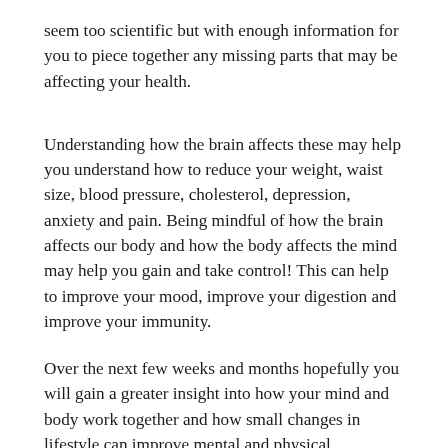seem too scientific but with enough information for you to piece together any missing parts that may be affecting your health.
Understanding how the brain affects these may help you understand how to reduce your weight, waist size, blood pressure, cholesterol, depression, anxiety and pain. Being mindful of how the brain affects our body and how the body affects the mind may help you gain and take control! This can help to improve your mood, improve your digestion and improve your immunity.
Over the next few weeks and months hopefully you will gain a greater insight into how your mind and body work together and how small changes in lifestyle can improve mental and physical wellbeing.